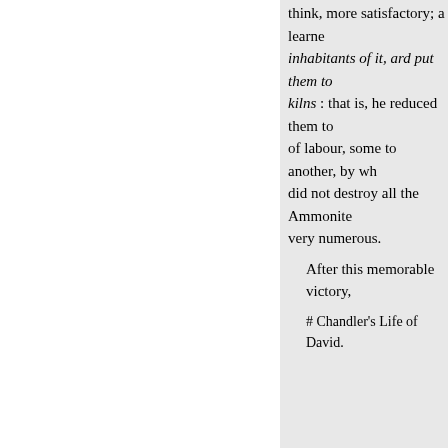think, more satisfactory; a learned inhabitants of it, ard put them to kilns : that is, he reduced them to of labour, some to another, by wh did not destroy all the Ammonite very numerous.
After this memorable victory,
# Chandler's Life of David.
ABSALOM KILLETH HIS B
From 2 Sam. Chap. xiii, xiv.
AND Absalom David's son hated
And it came to pass, that Absalom invited all the king's sons.
And Absalom came to the king, a beseech thee, and his servants.